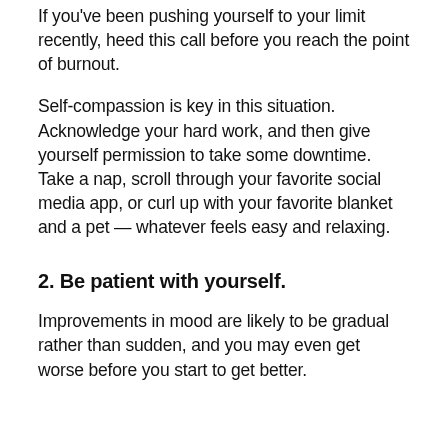If you've been pushing yourself to your limit recently, heed this call before you reach the point of burnout.
Self-compassion is key in this situation. Acknowledge your hard work, and then give yourself permission to take some downtime. Take a nap, scroll through your favorite social media app, or curl up with your favorite blanket and a pet — whatever feels easy and relaxing.
2. Be patient with yourself.
Improvements in mood are likely to be gradual rather than sudden, and you may even get worse before you start to get better.